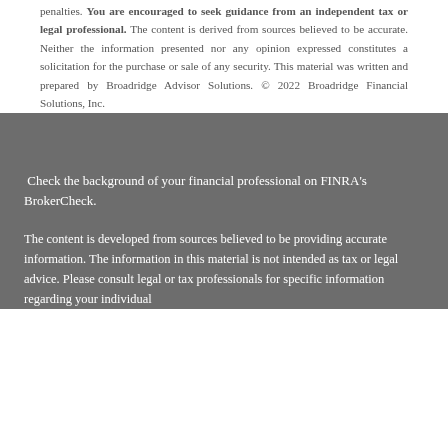penalties. You are encouraged to seek guidance from an independent tax or legal professional. The content is derived from sources believed to be accurate. Neither the information presented nor any opinion expressed constitutes a solicitation for the purchase or sale of any security. This material was written and prepared by Broadridge Advisor Solutions. © 2022 Broadridge Financial Solutions, Inc.
Check the background of your financial professional on FINRA's BrokerCheck.
The content is developed from sources believed to be providing accurate information. The information in this material is not intended as tax or legal advice. Please consult legal or tax professionals for specific information regarding your individual